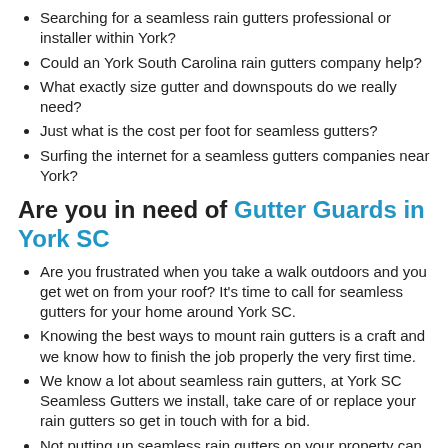Searching for a seamless rain gutters professional or installer within York?
Could an York South Carolina rain gutters company help?
What exactly size gutter and downspouts do we really need?
Just what is the cost per foot for seamless gutters?
Surfing the internet for a seamless gutters companies near York?
Are you in need of Gutter Guards in York SC
Are you frustrated when you take a walk outdoors and you get wet on from your roof? It's time to call for seamless gutters for your home around York SC.
Knowing the best ways to mount rain gutters is a craft and we know how to finish the job properly the very first time.
We know a lot about seamless rain gutters, at York SC Seamless Gutters we install, take care of or replace your rain gutters so get in touch with for a bid.
Not putting up seamless rain gutters on your property can cause water damage to your property in York.
York SC Seamless Gutters provides bids for seamless rain gutters all around York, South Carolina.
Installing seamless rain gutters on your house. is an